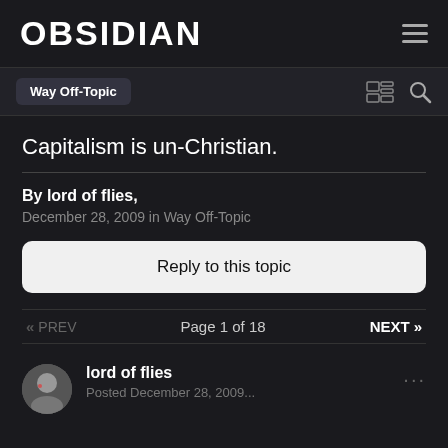OBSIDIAN
Way Off-Topic
Capitalism is un-Christian.
By lord of flies, December 28, 2009 in Way Off-Topic
Reply to this topic
« PREV  Page 1 of 18  NEXT »
lord of flies